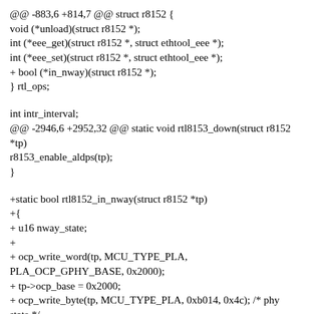@@ -883,6 +814,7 @@ struct r8152 {
void (*unload)(struct r8152 *);
int (*eee_get)(struct r8152 *, struct ethtool_eee *);
int (*eee_set)(struct r8152 *, struct ethtool_eee *);
+ bool (*in_nway)(struct r8152 *);
} rtl_ops;
int intr_interval;
@@ -2946,6 +2952,32 @@ static void rtl8153_down(struct r8152 *tp)
r8153_enable_aldps(tp);
}
+static bool rtl8152_in_nway(struct r8152 *tp)
+{
+ u16 nway_state;
+
+ ocp_write_word(tp, MCU_TYPE_PLA, PLA_OCP_GPHY_BASE, 0x2000);
+ tp->ocp_base = 0x2000;
+ ocp_write_byte(tp, MCU_TYPE_PLA, 0xb014, 0x4c); /* phy state */
+ nway_state = ocp_read_word(tp, MCU_TYPE_PLA, 0xb01a);
+
+ /* bit 15: TXDIS_STATE, bit 14: ABD_STATE */
+ if (nway_state & 0xc000)